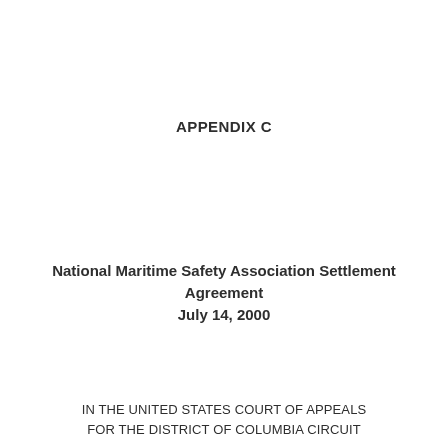APPENDIX C
National Maritime Safety Association Settlement Agreement
July 14, 2000
IN THE UNITED STATES COURT OF APPEALS
FOR THE DISTRICT OF COLUMBIA CIRCUIT